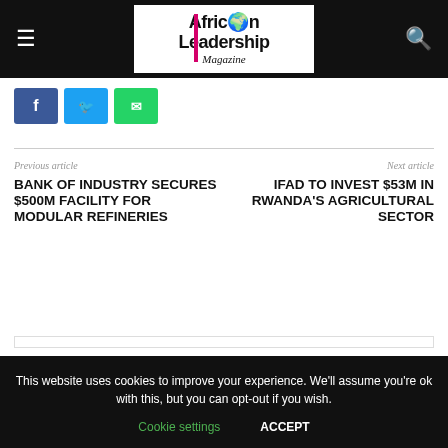African Leadership Magazine
[Figure (logo): African Leadership Magazine logo with green Africa continent icon]
[Figure (infographic): Social share buttons: Facebook (blue), Twitter (cyan), WhatsApp (green)]
Previous article
Next article
BANK OF INDUSTRY SECURES $500M FACILITY FOR MODULAR REFINERIES
IFAD TO INVEST $53M IN RWANDA'S AGRICULTURAL SECTOR
This website uses cookies to improve your experience. We'll assume you're ok with this, but you can opt-out if you wish.
Cookie settings   ACCEPT